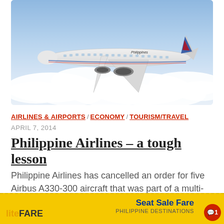[Figure (photo): Philippine Airlines Airbus A330-300 aircraft in flight above clouds, with Philippine Airlines livery visible on the fuselage.]
AIRLINES & AIRPORTS / ECONOMY / TOURISM/TRAVEL
APRIL 7, 2014
Philippine Airlines – a tough lesson
Philippine Airlines has cancelled an order for five Airbus A330-300 aircraft that was part of a multi-billion dollar order announced in 2012 involving the acquisition of 64 new aircraft from Airbus. Although Airbus recorded cancellations...
[Figure (screenshot): Advertisement banner for LiteFARE with yellow background showing 'Seat Sale Fare' text in blue and 'PHILIPPINE DESTINATIONS' text, with a red comment bubble showing '1'.]